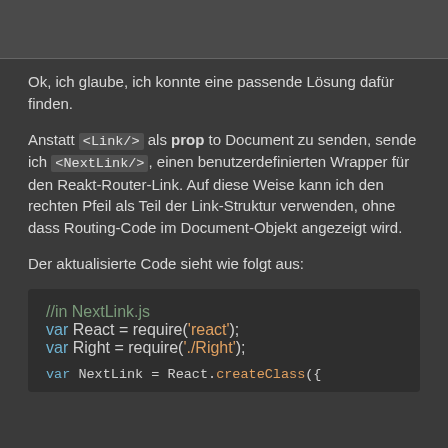Ok, ich glaube, ich konnte eine passende Lösung dafür finden.
Anstatt <Link/> als prop to Document zu senden, sende ich <NextLink/>, einen benutzerdefinierten Wrapper für den Reakt-Router-Link. Auf diese Weise kann ich den rechten Pfeil als Teil der Link-Struktur verwenden, ohne dass Routing-Code im Document-Objekt angezeigt wird.
Der aktualisierte Code sieht wie folgt aus:
[Figure (screenshot): Code block showing JavaScript code: //in NextLink.js, var React = require('react');, var Right = require('./Right');, var NextLink = React.createClass({]